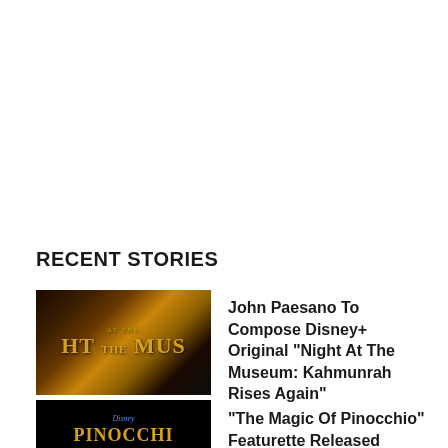RECENT STORIES
[Figure (photo): Thumbnail image for Night At The Museum: Kahmunrah Rises Again - dark museum interior with golden text]
John Paesano To Compose Disney+ Original “Night At The Museum: Kahmunrah Rises Again”
[Figure (photo): Thumbnail image for Disney Pinocchio - black background with golden Pinocchio title text and Disney logo]
“The Magic Of Pinocchio” Featurette Released